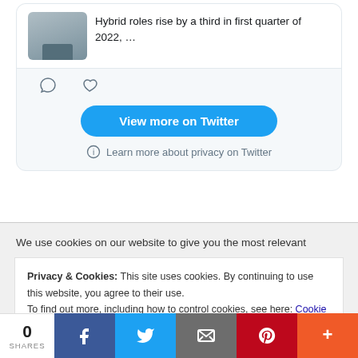[Figure (screenshot): Twitter embedded widget showing a tweet card with thumbnail image of a person at a desk, text 'Hybrid roles rise by a third in first quarter of 2022, …', with comment and like icons below, a blue 'View more on Twitter' button, and a privacy info link.]
We use cookies on our website to give you the most relevant
Privacy & Cookies: This site uses cookies. By continuing to use this website, you agree to their use.
To find out more, including how to control cookies, see here: Cookie Policy
0
SHARES